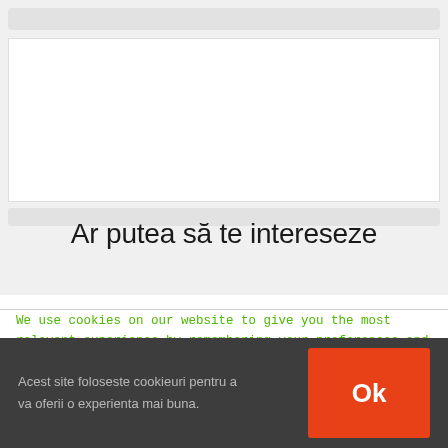[Figure (screenshot): Browser top bar with address bar and white content area placeholder]
Ar putea să te intereseze
We use cookies on our website to give you the most relevant experience by remembering your preferences and repeat visits. By clicking “Accept”, you consent to the use of ALL the cookies.
Acest site foloseste cookieuri pentru a va oferii o experienta mai buna.
Ok